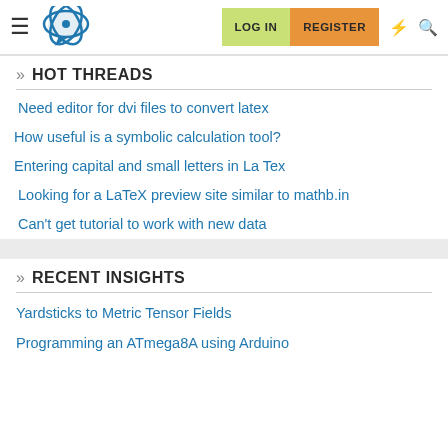Navigation bar with logo, LOG IN, REGISTER buttons, lightning and search icons
» HOT THREADS
Need editor for dvi files to convert latex
How useful is a symbolic calculation tool?
Entering capital and small letters in La Tex
Looking for a LaTeX preview site similar to mathb.in
Can't get tutorial to work with new data
» RECENT INSIGHTS
Yardsticks to Metric Tensor Fields
Programming an ATmega8A using Arduino